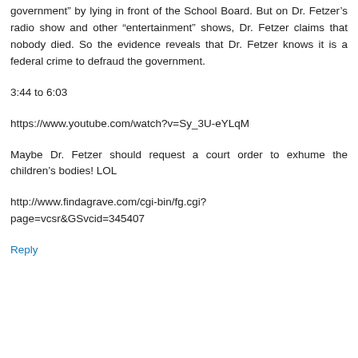government" by lying in front of the School Board. But on Dr. Fetzer's radio show and other "entertainment" shows, Dr. Fetzer claims that nobody died. So the evidence reveals that Dr. Fetzer knows it is a federal crime to defraud the government.
3:44 to 6:03
https://www.youtube.com/watch?v=Sy_3U-eYLqM
Maybe Dr. Fetzer should request a court order to exhume the children's bodies! LOL
http://www.findagrave.com/cgi-bin/fg.cgi?page=vcsr&GSvcid=345407
Reply